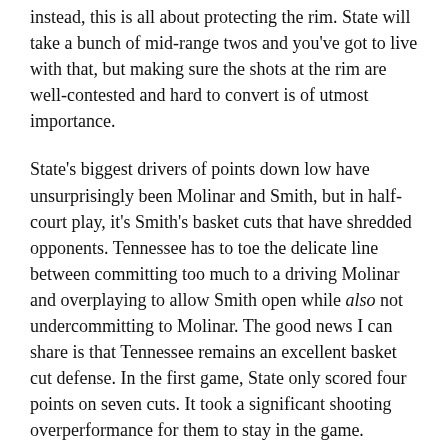instead, this is all about protecting the rim. State will take a bunch of mid-range twos and you've got to live with that, but making sure the shots at the rim are well-contested and hard to convert is of utmost importance.
State's biggest drivers of points down low have unsurprisingly been Molinar and Smith, but in half-court play, it's Smith's basket cuts that have shredded opponents. Tennessee has to toe the delicate line between committing too much to a driving Molinar and overplaying to allow Smith open while also not undercommitting to Molinar. The good news I can share is that Tennessee remains an excellent basket cut defense. In the first game, State only scored four points on seven cuts. It took a significant shooting overperformance for them to stay in the game. Absent that, Tennessee needs to control this game within five feet of the rim.